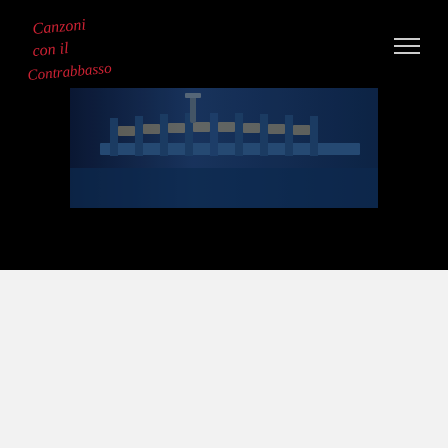[Figure (logo): Canzoni con il Contrabbasso hand-written script logo in red on black background]
[Figure (photo): Blue-toned photograph of industrial kitchen or bar counter with equipment and chairs in dim blue lighting]
4 COMMENTI
Daniel
Gennaio 26, 2017 alle 10:46 am